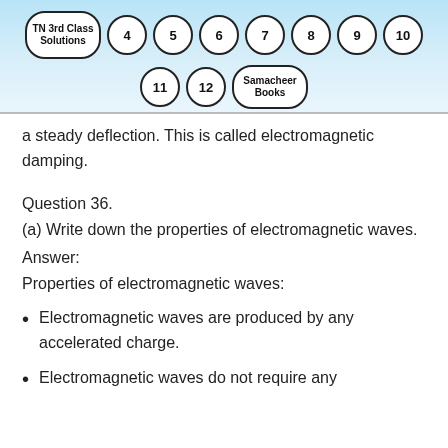[Figure (other): Navigation header with TN 3rd Class Solutions logo and class number circles (4,5,6,7,8,9,10,11,12) and Samacheer Books button on light blue gradient background]
a steady deflection. This is called electromagnetic damping.
Question 36.
(a) Write down the properties of electromagnetic waves.
Answer:
Properties of electromagnetic waves:
Electromagnetic waves are produced by any accelerated charge.
Electromagnetic waves do not require any